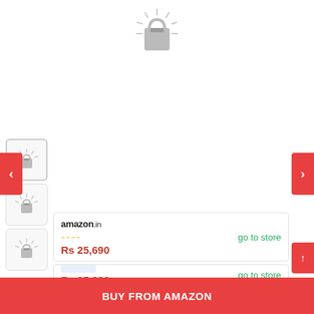[Figure (illustration): Loading spinner icon (shopping bag with radial lines) centered near top of page]
[Figure (illustration): Left navigation arrow button (red background, white chevron)]
[Figure (illustration): Right navigation arrow button (red background, white chevron)]
[Figure (illustration): Three thumbnail image boxes on left side showing loading spinners]
go to store
Rs 25,690
[Figure (logo): Amazon.in logo with orange smile]
go to store
Rs 25,990
BUY FROM AMAZON